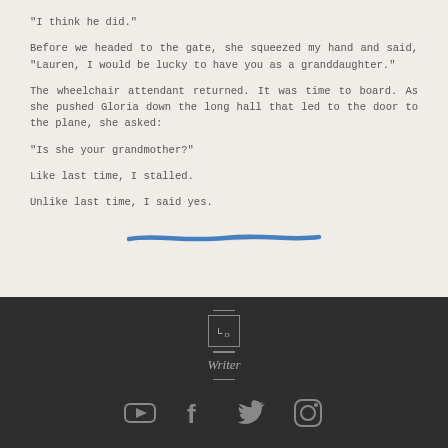"I think he did."
Before we headed to the gate, she squeezed my hand and said, "Lauren, I would be lucky to have you as a granddaughter."
The wheelchair attendant returned. It was time to board. As she pushed Gloria down the long hall that led to the door to the plane, she asked:
"Is she your grandmother?"
Like last time, I stalled.
Unlike last time, I said yes.
[Figure (illustration): A blue brushstroke/underline decorative divider element]
[Figure (logo): LD Writer logo with decorative lines above and below, followed by social media icons for YouTube, Facebook, Twitter, and Instagram]